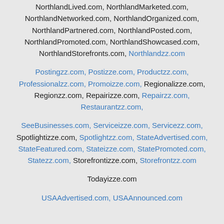NorthlandLived.com, NorthlandMarketed.com, NorthlandNetworked.com, NorthlandOrganized.com, NorthlandPartnered.com, NorthlandPosted.com, NorthlandPromoted.com, NorthlandShowcased.com, NorthlandStorefronts.com, Northlandzz.com
Postingzz.com, Postizze.com, Productzz.com, Professionalzz.com, Promoizze.com, Regionalizze.com, Regionzz.com, Repairizze.com, Repairzz.com, Restaurantzz.com,
SeeBusinesses.com, Serviceizze.com, Servicezz.com, Spotlightizze.com, Spotlightzz.com, StateAdvertised.com, StateFeatured.com, Stateizze.com, StatePromoted.com, Statezz.com, Storefrontizze.com, Storefrontzz.com
Todayizze.com
USAAdvertised.com, USAAnnounced.com